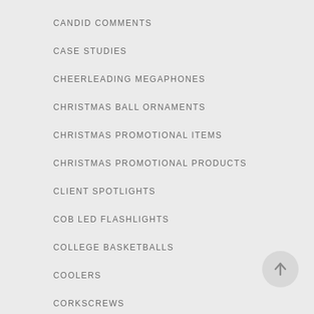CANDID COMMENTS
CASE STUDIES
CHEERLEADING MEGAPHONES
CHRISTMAS BALL ORNAMENTS
CHRISTMAS PROMOTIONAL ITEMS
CHRISTMAS PROMOTIONAL PRODUCTS
CLIENT SPOTLIGHTS
COB LED FLASHLIGHTS
COLLEGE BASKETBALLS
COOLERS
CORKSCREWS
CORPORATE GIFTS
[Figure (illustration): A circular scroll-to-top button with an upward arrow, grey background, positioned at bottom right]